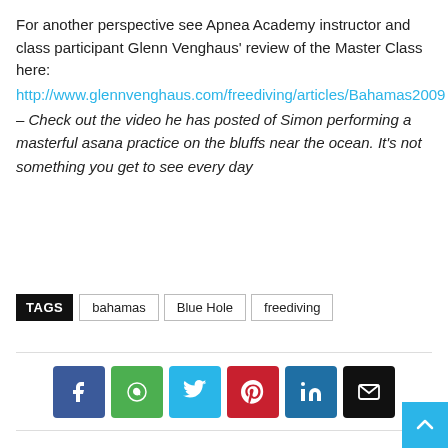For another perspective see  Apnea Academy instructor and class participant Glenn Venghaus'  review of the Master Class here:
http://www.glennvenghaus.com/freediving/articles/Bahamas2009
– Check out the video he has posted of Simon performing a masterful asana practice on the bluffs near the ocean. It's not something you get to see every day
TAGS   bahamas   Blue Hole   freediving
[Figure (other): Social sharing buttons: Facebook (blue), WhatsApp (green), Twitter (cyan), Pinterest (red), LinkedIn (dark blue), Email (black)]
[Figure (photo): Partial image at the bottom of a card, showing a photo of what appears to be a person underwater or in a blue/sky scene]